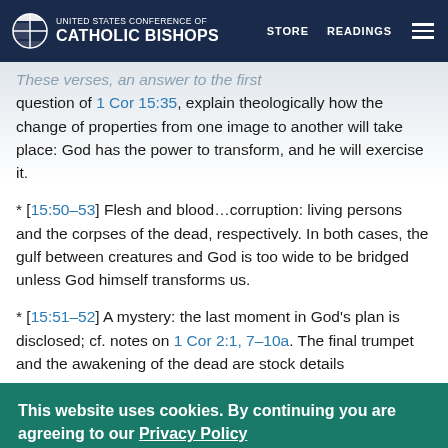UNITED STATES CONFERENCE OF CATHOLIC BISHOPS | STORE | READINGS
These verses, an answer to the first question of 1 Cor 15:35, explain theologically how the change of properties from one image to another will take place: God has the power to transform, and he will exercise it.
* [15:50–53] Flesh and blood…corruption: living persons and the corpses of the dead, respectively. In both cases, the gulf between creatures and God is too wide to be bridged unless God himself transforms us.
* [15:51–52] A mystery: the last moment in God's plan is disclosed; cf. notes on 1 Cor 2:1, 7–10a. The final trumpet and the awakening of the dead are stock details
This website uses cookies. By continuing you are agreeing to our Privacy Policy
CLOSE X